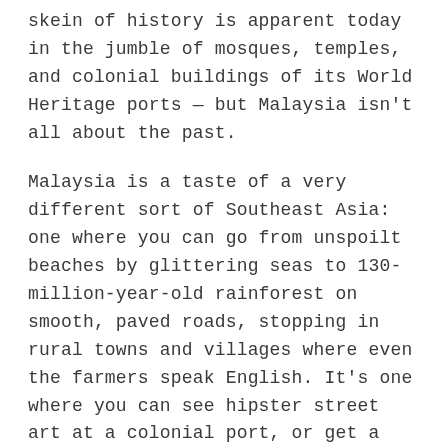skein of history is apparent today in the jumble of mosques, temples, and colonial buildings of its World Heritage ports — but Malaysia isn't all about the past.
Malaysia is a taste of a very different sort of Southeast Asia: one where you can go from unspoilt beaches by glittering seas to 130-million-year-old rainforest on smooth, paved roads, stopping in rural towns and villages where even the farmers speak English. It's one where you can see hipster street art at a colonial port, or get a drip coffee in a little mining town in the mountains — and where the cities are among the most modern and connected in the world. This is Southeast Asia for the future, with all the best bits of the past.